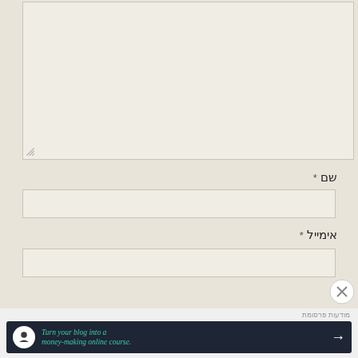[Figure (screenshot): Empty textarea input box with resize handle at bottom-left corner, styled with light beige background]
שם *
[Figure (screenshot): Empty name text input field with beige background]
אימייל *
[Figure (screenshot): Empty email text input field with beige background]
[Figure (screenshot): Close (X) button circle icon]
מודעות פרסומת
[Figure (infographic): Dark banner ad: Turn your blog into a money-making online course. with arrow button]